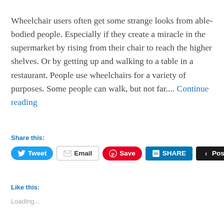Wheelchair users often get some strange looks from able-bodied people. Especially if they create a miracle in the supermarket by rising from their chair to reach the higher shelves. Or by getting up and walking to a table in a restaurant. People use wheelchairs for a variety of purposes. Some people can walk, but not far.... Continue reading
Share this:
Tweet | Email | Save | SHARE | Post
Like this:
Loading...